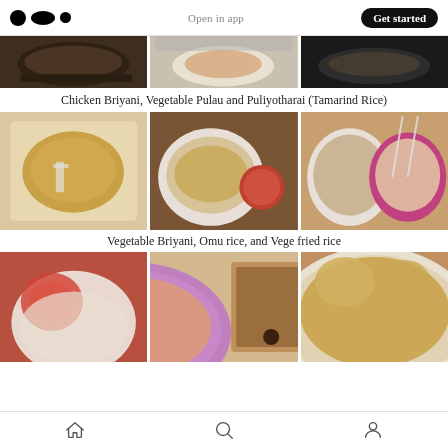Open in app | Get started
[Figure (photo): Three food photos in a row: a pot with cooked food, a plate with rice/pizza slice, a pan with cooked food]
Chicken Briyani, Vegetable Pulau and Puliyotharai (Tamarind Rice)
[Figure (photo): Three food photos in a row: a container with yellow rice, a plate with omu rice and red sauce, two plates with various dishes and chopsticks]
Vegetable Briyani, Omu rice, and Vege fried rice
[Figure (photo): Three food photos partially visible: a plate with eggs over tomatoes, a purple bowl with orange rice and a long piece of grilled bread with olives, a bowl with a whole roasted chicken]
Home | Search | Profile